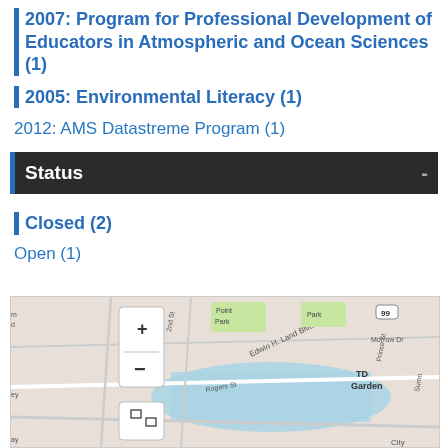2007: Program for Professional Development of Educators in Atmospheric and Ocean Sciences (1)
2005: Environmental Literacy (1)
2012: AMS Datastreme Program (1)
Status
Closed (2)
Open (1)
[Figure (map): Street map showing area around TD Garden, Boston, with Edwin H. Land Blvd, Rogers St, 2nd St, Point Park, and surrounding streets and waterways visible. Map controls include zoom in (+), zoom out (-), and fullscreen button.]